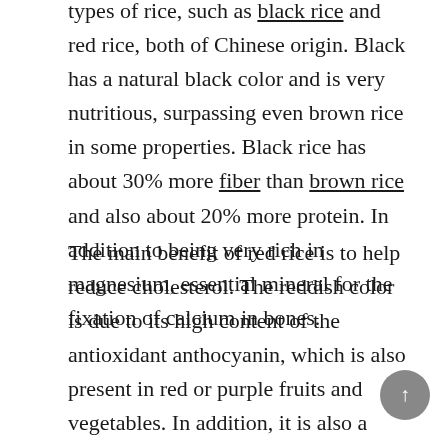types of rice, such as black rice and red rice, both of Chinese origin. Black has a natural black color and is very nutritious, surpassing even brown rice in some properties. Black rice has about 30% more fiber than brown rice and also about 20% more protein. In addition to being very rich in magnesium, essential mineral for the fixation of calcium in bones.
The main benefit of red rice is to help reduce cholesterol. The reddish color is due to its high content of the antioxidant anthocyanin, which is also present in red or purple fruits and vegetables. In addition, it is also a whole grain with high nutritional value, rich in nutrients such as iron and fiber.